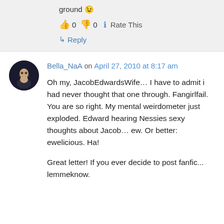ground 😉
👍 0 👎 0 ℹ Rate This
↳ Reply
Bella_NaA on April 27, 2010 at 8:17 am
Oh my, JacobEdwardsWife… I have to admit i had never thought that one through. Fangirlfail. You are so right. My mental weirdometer just exploded. Edward hearing Nessies sexy thoughts about Jacob… ew. Or better: ewelicious. Ha!

Great letter! If you ever decide to post fanfic... lemmeknow.